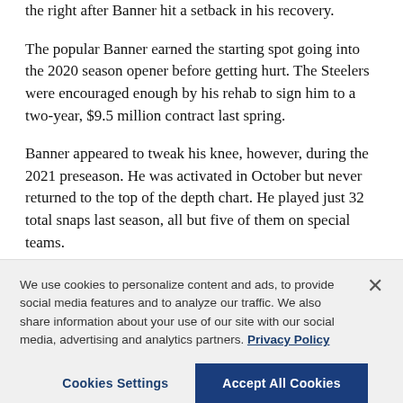the right after Banner hit a setback in his recovery.
The popular Banner earned the starting spot going into the 2020 season opener before getting hurt. The Steelers were encouraged enough by his rehab to sign him to a two-year, $9.5 million contract last spring.
Banner appeared to tweak his knee, however, during the 2021 preseason. He was activated in October but never returned to the top of the depth chart. He played just 32 total snaps last season, all but five of them on special teams.
We use cookies to personalize content and ads, to provide social media features and to analyze our traffic. We also share information about your use of our site with our social media, advertising and analytics partners. Privacy Policy